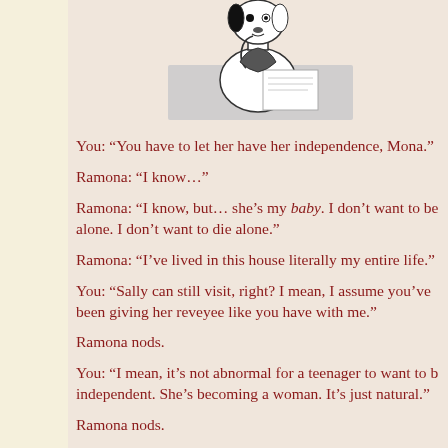[Figure (illustration): Line drawing of a cartoon dog character sitting at a table, resting chin on hand thoughtfully, reading a paper]
You: “You have to let her have her independence, Mona.”
Ramona: “I know…”
Ramona: “I know, but… she’s my baby. I don’t want to be alone. I don’t want to die alone.”
Ramona: “I’ve lived in this house literally my entire life.”
You: “Sally can still visit, right? I mean, I assume you’ve been giving her reveyee like you have with me.”
Ramona nods.
You: “I mean, it’s not abnormal for a teenager to want to be independent. She’s becoming a woman. It’s just natural.”
Ramona nods.
Ramona: “You just don’t understand. It’s… about time.”